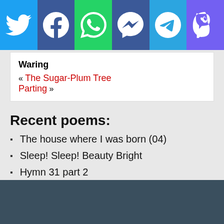[Figure (infographic): Social share bar with six buttons: Twitter (blue), Facebook (dark blue), WhatsApp (green), Messenger (dark blue), Telegram (light blue), Viber (purple), each with white icon]
Waring
« The Sugar-Plum Tree
Parting »
Recent poems:
The house where I was born (04)
Sleep! Sleep! Beauty Bright
Hymn 31 part 2
An Ode to the Queen
Breaghy